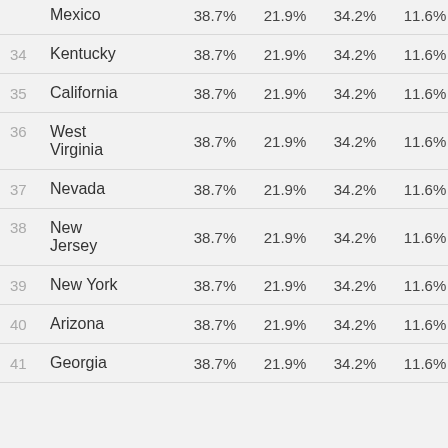| Rank | State | Col1 | Col2 | Col3 | Col4 |
| --- | --- | --- | --- | --- | --- |
|  | Mexico | 38.7% | 21.9% | 34.2% | 11.6% |
| 34 | Kentucky | 38.7% | 21.9% | 34.2% | 11.6% |
| 35 | California | 38.7% | 21.9% | 34.2% | 11.6% |
| 36 | West Virginia | 38.7% | 21.9% | 34.2% | 11.6% |
| 37 | Nevada | 38.7% | 21.9% | 34.2% | 11.6% |
| 38 | New Jersey | 38.7% | 21.9% | 34.2% | 11.6% |
| 39 | New York | 38.7% | 21.9% | 34.2% | 11.6% |
| 40 | Arizona | 38.7% | 21.9% | 34.2% | 11.6% |
| 41 | Georgia | 38.7% | 21.9% | 34.2% | 11.6% |